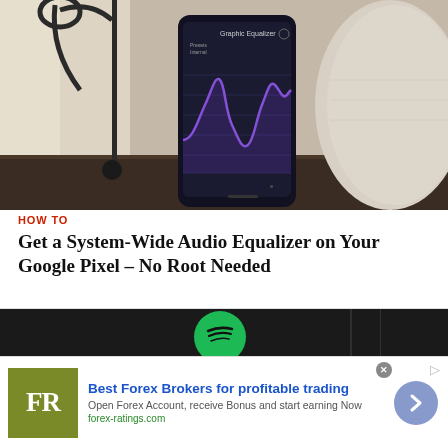[Figure (photo): A smartphone displaying an audio equalizer app with a purple waveform curve on dark background, placed next to a white smart speaker on a dark wood surface, with a lamp stand visible on the left.]
HOW TO
Get a System-Wide Audio Equalizer on Your Google Pixel – No Root Needed
[Figure (photo): Dark background photo showing a green Spotify logo/button on a dark surface with ambient lighting.]
Best Forex Brokers for profitable trading
Open Forex Account, receive Bonus and start earning Now
forex-ratings.com